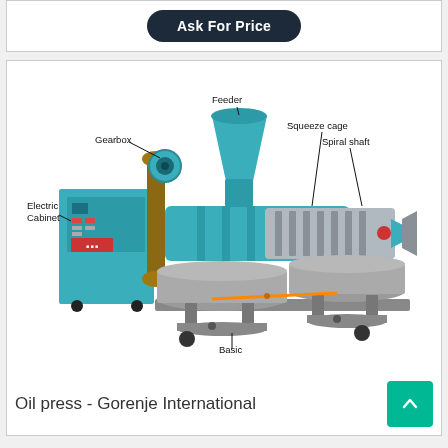Ask For Price
[Figure (engineering-diagram): Labeled diagram of an oil press machine showing components: Gearbox, Feeder, Squeeze cage, Spiral shaft, Electric Cabinet, Basic]
Oil press - Gorenje International